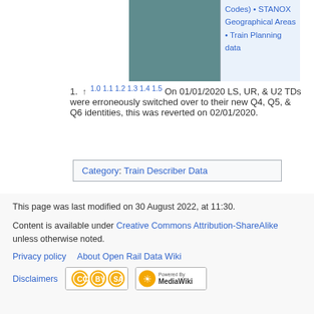[Figure (other): Teal/slate colored rectangle, partial table image fragment]
Codes) • STANOX Geographical Areas • Train Planning data
1. ↑ 1.0 1.1 1.2 1.3 1.4 1.5 On 01/01/2020 LS, UR, & U2 TDs were erroneously switched over to their new Q4, Q5, & Q6 identities, this was reverted on 02/01/2020.
Category: Train Describer Data
This page was last modified on 30 August 2022, at 11:30.
Content is available under Creative Commons Attribution-ShareAlike unless otherwise noted.
Privacy policy   About Open Rail Data Wiki
Disclaimers